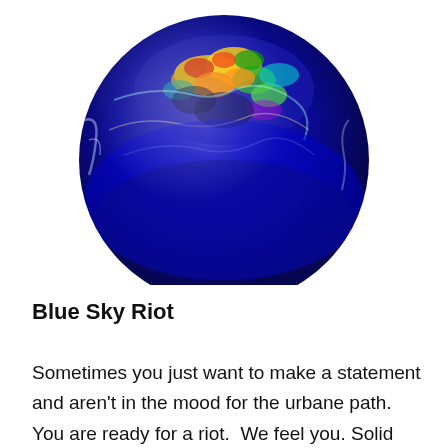[Figure (photo): A colorful handblown glass orb/paperweight with a predominantly cobalt blue base and vivid multicolored speckles of gold, green, red, and orange across the surface, photographed on a white background, showing the top and upper portion of the sphere.]
Blue Sky Riot
Sometimes you just want to make a statement and aren't in the mood for the urbane path.  You are ready for a riot.  We feel you. Solid fields of cobalt blue make their entrance with windows of gold, green, red and orange thrown in between gasps of deep blue bliss and